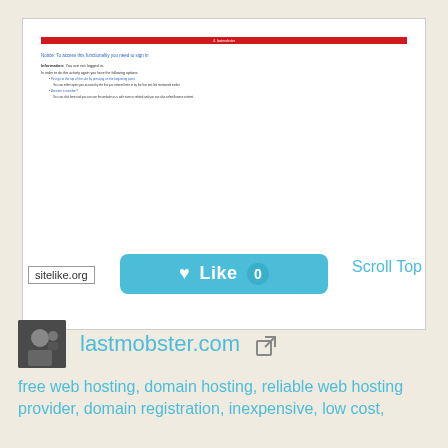[Figure (screenshot): A screenshot of a web page showing an error/notice page with a red header bar and blue link text, rendered as a thumbnail card]
sitelike.org
Like 0
Scroll Top
[Figure (photo): Avatar icon of a person with camera/gear, representing the website lastmobster.com]
lastmobster.com
free web hosting, domain hosting, reliable web hosting provider, domain registration, inexpensive, low cost,